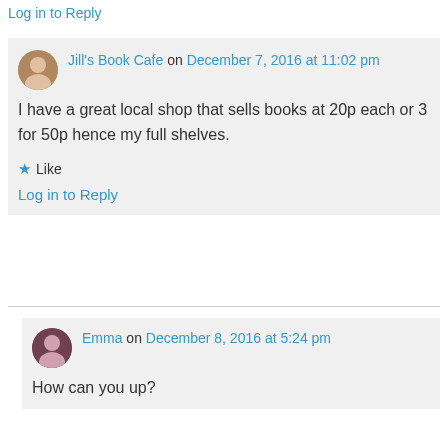Log in to Reply
Jill's Book Cafe on December 7, 2016 at 11:02 pm
I have a great local shop that sells books at 20p each or 3 for 50p hence my full shelves.
Like
Log in to Reply
Emma on December 8, 2016 at 5:24 pm
How can you up?